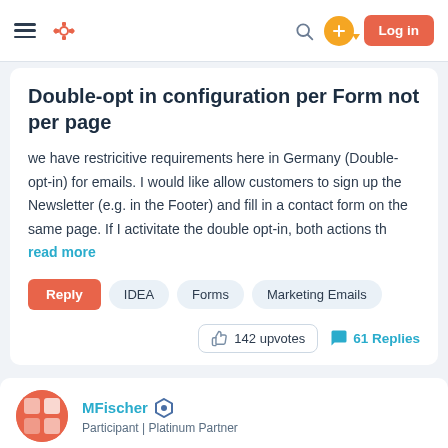HubSpot Community — Navigation bar with hamburger menu, logo, search, plus button, and Log in button
Double-opt in configuration per Form not per page
we have restricitive requirements here in Germany (Double-opt-in) for emails. I would like allow customers to sign up the Newsletter (e.g. in the Footer) and fill in a contact form on the same page. If I activitate the double opt-in, both actions th read more
Reply
IDEA
Forms
Marketing Emails
142 upvotes   61 Replies
MFischer — Participant | Platinum Partner